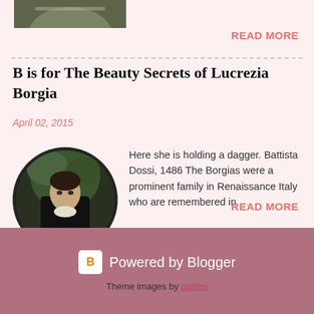[Figure (photo): Partial view of a painting/portrait at the top of the page]
READ MORE
B is for The Beauty Secrets of Lucrezia Borgia
April 02, 2015
[Figure (photo): Portrait painting of a young woman (Battista Dossi, 1486) holding a dagger, shown in circular frame]
Here she is holding a dagger. Battista Dossi, 1486 The Borgias were a prominent family in Renaissance Italy who are remembered in …
READ MORE
Powered by Blogger
Theme images by badins